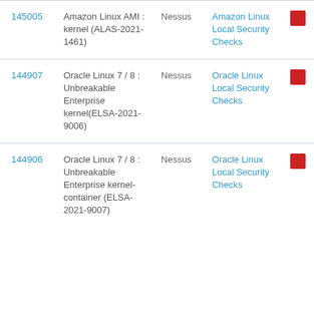| ID | Name | Type | Family | Severity |
| --- | --- | --- | --- | --- |
| 145005 | Amazon Linux AMI : kernel (ALAS-2021-1461) | Nessus | Amazon Linux Local Security Checks | CRITICAL |
| 144907 | Oracle Linux 7 / 8 : Unbreakable Enterprise kernel(ELSA-2021-9006) | Nessus | Oracle Linux Local Security Checks | CRITICAL |
| 144906 | Oracle Linux 7 / 8 : Unbreakable Enterprise kernel-container (ELSA-2021-9007) | Nessus | Oracle Linux Local Security Checks | CRITICAL |